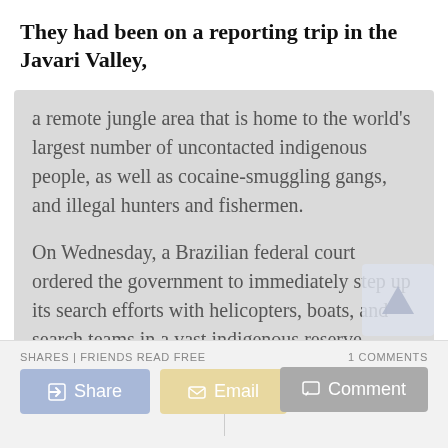They had been on a reporting trip in the Javari Valley, a remote jungle area that is home to the world's largest number of uncontacted indigenous people, as well as cocaine-smuggling gangs, and illegal hunters and fishermen.
On Wednesday, a Brazilian federal court ordered the government to immediately step up its search efforts with helicopters, boats, and search teams in a vast indigenous reserve region larger than Austria.
As a former Funai official stationed in the reserve, Pereira had regularly clashed with fishermen
SHARES | FRIENDS READ FREE   1 COMMENTS   Share   Email   Comment